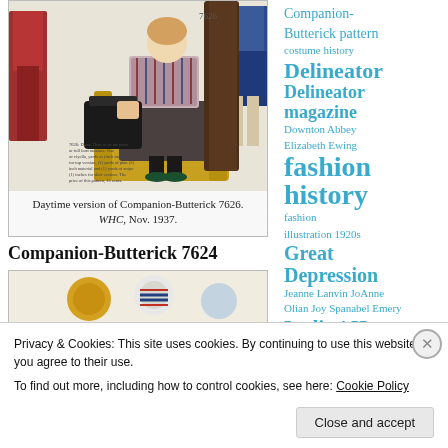[Figure (illustration): Fashion illustration showing women in 1930s dresses, Companion-Butterick 7626, from WHC Nov. 1937. A woman seated in a yellow chair wearing a patterned top and dark skirt, holding a large dark handbag, with green shoes. Other figures in red and blue dresses visible.]
Daytime version of Companion-Butterick 7626. WHC, Nov. 1937.
Companion-Butterick 7624
[Figure (illustration): Partial view of another fashion illustration showing colorful round accessories or hats.]
Companion-Butterick pattern
costume history
Delineator
Delineator magazine
Downton Abbey
Elizabeth Ewing
fashion history
fashion illustration 1920s
Great Depression
Jeanne Lanvin JoAnne Olian Joy Spanabel Emery
Ladies' Home
Privacy & Cookies: This site uses cookies. By continuing to use this website, you agree to their use.
To find out more, including how to control cookies, see here: Cookie Policy
Close and accept